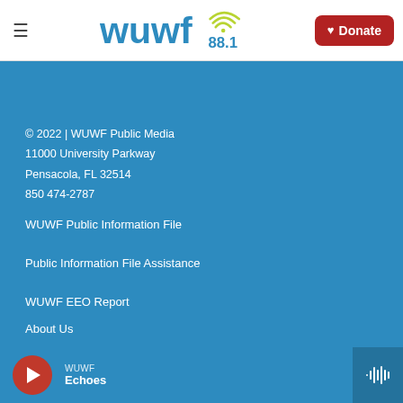[Figure (logo): WUWF 88.1 radio station logo with wifi signal icon]
© 2022 | WUWF Public Media
11000 University Parkway
Pensacola, FL 32514
850 474-2787
WUWF Public Information File
Public Information File Assistance
WUWF EEO Report
About Us
Donate Now
WUWF
Echoes